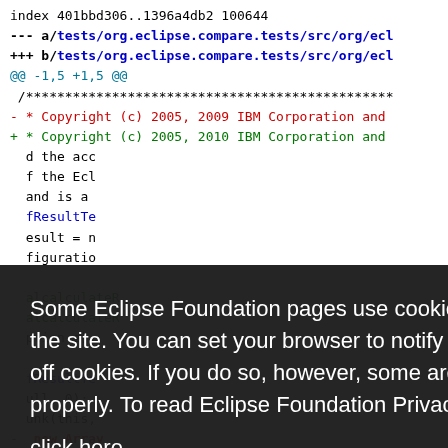index 401bbd306..1396a4db2 100644
--- a/tests/org.eclipse.compare.tests/src/org/ecl
+++ b/tests/org.eclipse.compare.tests/src/org/ecl
@@ -1,5 +1,5 @@
 /***********************************************
 - * Copyright (c) 2005, 2009 IBM Corporation and
 + * Copyright (c) 2005, 2010 IBM Corporation and
   d the acc
   f the Ecl
   and is a
   fResultTe
   esult = n
   figuratio
   
   alcalculateR
   alcalculateR
   ption e)
   
   fResultTe
   ull, 0);
   unk(this,
 - new Array
Some Eclipse Foundation pages use cookies to better serve you when you return to the site. You can set your browser to notify you before you receive a cookie or turn off cookies. If you do so, however, some areas of some sites may not function properly. To read Eclipse Foundation Privacy Policy click here.